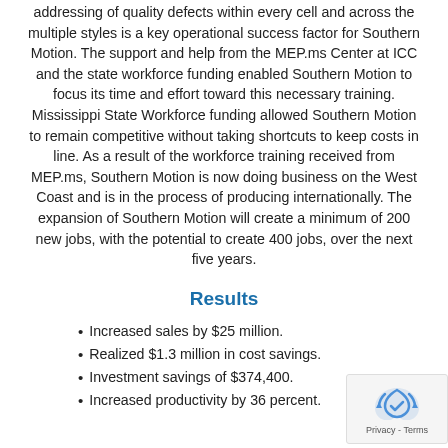addressing of quality defects within every cell and across the multiple styles is a key operational success factor for Southern Motion. The support and help from the MEP.ms Center at ICC and the state workforce funding enabled Southern Motion to focus its time and effort toward this necessary training. Mississippi State Workforce funding allowed Southern Motion to remain competitive without taking shortcuts to keep costs in line. As a result of the workforce training received from MEP.ms, Southern Motion is now doing business on the West Coast and is in the process of producing internationally. The expansion of Southern Motion will create a minimum of 200 new jobs, with the potential to create 400 jobs, over the next five years.
Results
Increased sales by $25 million.
Realized $1.3 million in cost savings.
Investment savings of $374,400.
Increased productivity by 36 percent.